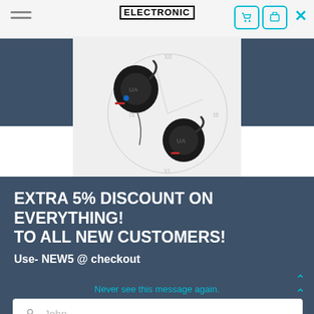ELECTRONIC
[Figure (photo): Two black wireless earbuds with Under Armour logo on a clock face background]
EXTRA 5% DISCOUNT ON EVERYTHING! TO ALL NEW CUSTOMERS!
Use- NEW5 @ checkout
John
Smith
johnsmith@example.com
Never see this message again.
360° rotate